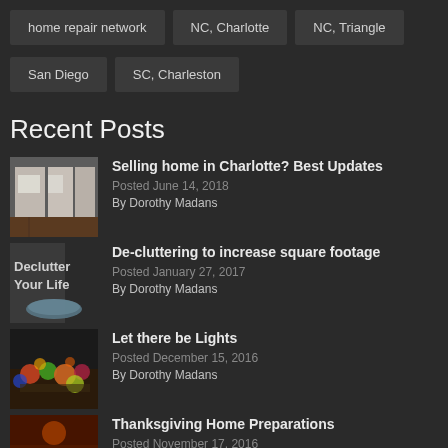home repair network
NC, Charlotte
NC, Triangle
San Diego
SC, Charleston
Recent Posts
Selling home in Charlotte? Best Updates
Posted June 14, 2018
By Dorothy Madans
De-cluttering to increase square footage
Posted January 27, 2017
By Dorothy Madans
Let there be Lights
Posted December 15, 2016
By Dorothy Madans
Thanksgiving Home Preparations
Posted November 17, 2016
By Dorothy Madans